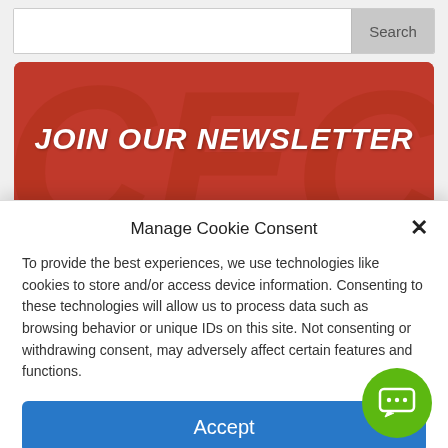[Figure (screenshot): Search bar UI element at the top of a webpage with a text input and a Search button]
[Figure (screenshot): Newsletter signup banner with red background and bold italic text 'JOIN OUR NEWSLETTER' and a Name input field below]
Manage Cookie Consent
To provide the best experiences, we use technologies like cookies to store and/or access device information. Consenting to these technologies will allow us to process data such as browsing behavior or unique IDs on this site. Not consenting or withdrawing consent, may adversely affect certain features and functions.
Accept
Cookie Policy   Privacy Statement